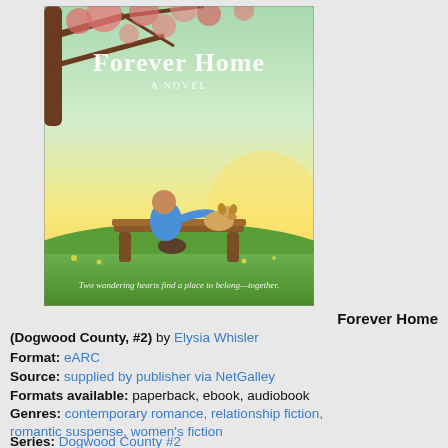[Figure (illustration): Book cover of 'Forever Home: A Novel' showing a person sitting on a bench with a dog under a flowering cherry tree. Text at bottom reads: 'Two wandering hearts find a place to belong—together.']
Forever Home (Dogwood County, #2) by Elysia Whisler
Format: eARC
Source: supplied by publisher via NetGalley
Formats available: paperback, ebook, audiobook
Genres: contemporary romance, relationship fiction, romantic suspense, women's fiction
Series: Dogwood County #2
Pages: 384